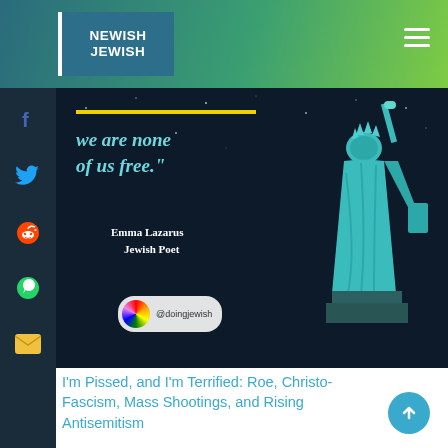NEWISH JEWISH
[Figure (photo): Dark night sky background with Statue of Liberty in teal/green tones. Overlaid text quote: 'we are none of us free.' with yellow bar accent. Attribution: Emma Lazarus Jewish Poet. Badge: @doingjewish with rainbow circular icon.]
I'm Pissed, and I'm Terrified: Roe, Christo-Fascism, Mass Shootings, and Rising Antisemitism